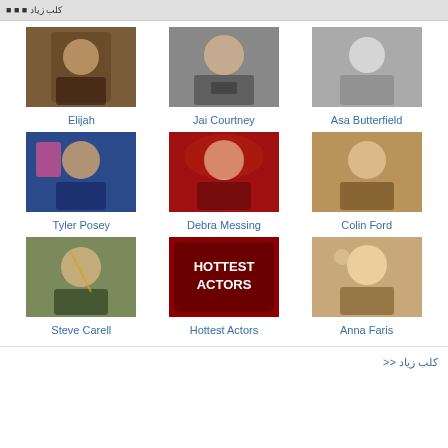كلب زياد
[Figure (photo): Photo of Elijah]
Elijah
[Figure (photo): Photo of Jai Courtney]
Jai Courtney
[Figure (photo): Photo of Asa Butterfield]
Asa Butterfield
[Figure (photo): Photo of Tyler Posey]
Tyler Posey
[Figure (photo): Photo of Debra Messing]
Debra Messing
[Figure (photo): Photo of Colin Ford]
Colin Ford
[Figure (photo): Photo of Steve Carell]
Steve Carell
[Figure (illustration): Hottest Actors logo/thumbnail]
Hottest Actors
[Figure (photo): Photo of Anna Faris]
Anna Faris
>> كلب زياد!